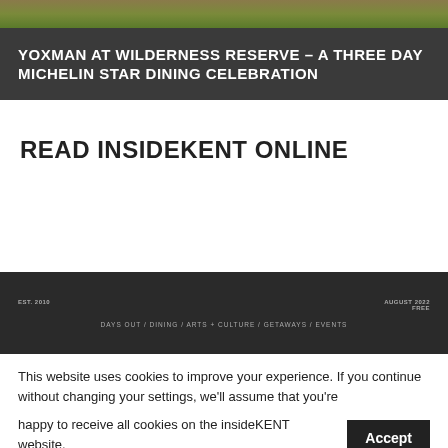[Figure (photo): Hero banner with dark background showing landscape image strip at top and bold white uppercase title text below]
YOXMAN AT WILDERNESS RESERVE – A THREE DAY MICHELIN STAR DINING CELEBRATION
READ INSIDEKENT ONLINE
[Figure (screenshot): InsideKent magazine banner showing EST. 2010, AUGUST 2022, FREE, and navigation categories: DAYS OUT / DINING / ARTS + CULTURE / GETAWAYS / EVENTS]
This website uses cookies to improve your experience. If you continue without changing your settings, we'll assume that you're happy to receive all cookies on the insideKENT website.
Accept
Read More